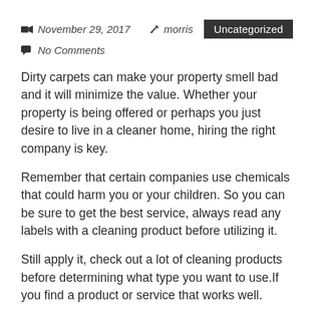November 29, 2017   morris   Uncategorized
No Comments
Dirty carpets can make your property smell bad and it will minimize the value. Whether your property is being offered or perhaps you just desire to live in a cleaner home, hiring the right company is key.
Remember that certain companies use chemicals that could harm you or your children. So you can be sure to get the best service, always read any labels with a cleaning product before utilizing it.
Still apply it, check out a lot of cleaning products before determining what type you want to use.If you find a product or service that works well.